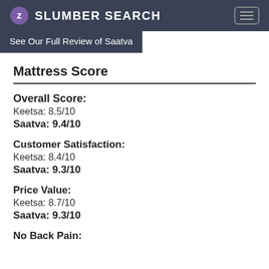SLUMBER SEARCH
See Our Full Review of Saatva
Mattress Score
Overall Score:
Keetsa: 8.5/10
Saatva: 9.4/10
Customer Satisfaction:
Keetsa: 8.4/10
Saatva: 9.3/10
Price Value:
Keetsa: 8.7/10
Saatva: 9.3/10
No Back Pain: